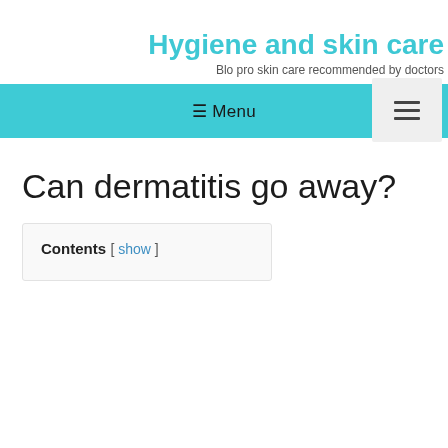Hygiene and skin care
Blo pro skin care recommended by doctors
[Figure (other): Hamburger/menu icon button in a light gray rounded box in the upper right corner]
≡ Menu
Can dermatitis go away?
Contents [ show ]